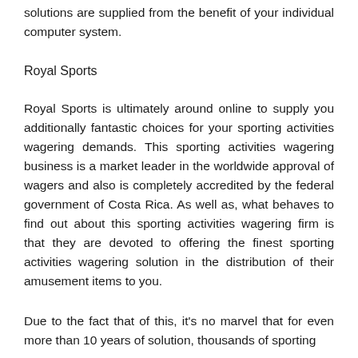solutions are supplied from the benefit of your individual computer system.
Royal Sports
Royal Sports is ultimately around online to supply you additionally fantastic choices for your sporting activities wagering demands. This sporting activities wagering business is a market leader in the worldwide approval of wagers and also is completely accredited by the federal government of Costa Rica. As well as, what behaves to find out about this sporting activities wagering firm is that they are devoted to offering the finest sporting activities wagering solution in the distribution of their amusement items to you.
Due to the fact that of this, it's no marvel that for even more than 10 years of solution, thousands of sporting